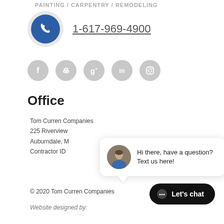PAINTING / CARPENTRY / REMODELING
[Figure (illustration): Blue phone icon inside a dark blue circle with light gray outer ring]
1-617-969-4900
[Figure (illustration): Five social media icons: Facebook (f), Pinterest (p), Google+ (g+), LinkedIn (in), Instagram, all in gray circles]
Office
Tom Curren Companies
225 Riverview
Auburndale, M
Contractor ID
[Figure (illustration): Chat bubble popup with avatar photo and text: Hi there, have a question? Text us here!]
© 2020 Tom Curren Companies
[Figure (illustration): Let's chat button in black rounded rectangle]
Website designed by: